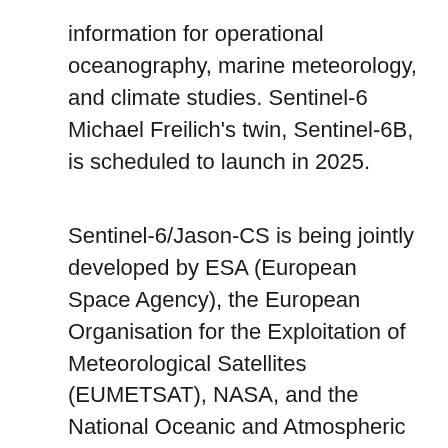information for operational oceanography, marine meteorology, and climate studies. Sentinel-6 Michael Freilich's twin, Sentinel-6B, is scheduled to launch in 2025.
Sentinel-6/Jason-CS is being jointly developed by ESA (European Space Agency), the European Organisation for the Exploitation of Meteorological Satellites (EUMETSAT), NASA, and the National Oceanic and Atmospheric Administration, with funding support from the European Commission and technical support from France's National Centre for Space Studies.